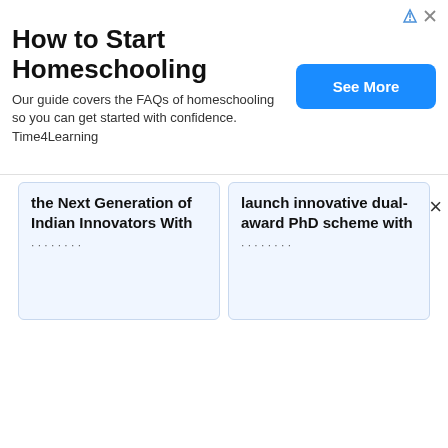How to Start Homeschooling
Our guide covers the FAQs of homeschooling so you can get started with confidence. Time4Learning
See More
the Next Generation of Indian Innovators With
launch innovative dual-award PhD scheme with